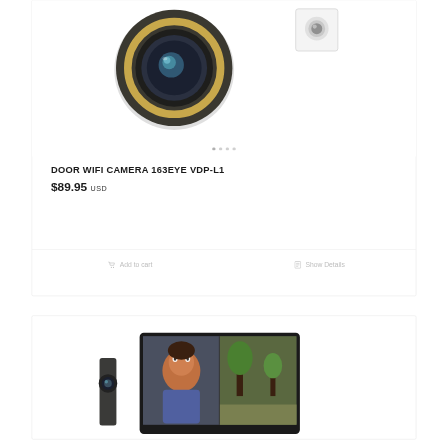[Figure (photo): Product photo of a round door WiFi camera (163EYE VDP-L1) in dark gunmetal/gold color, with a smaller white version thumbnail to the upper right]
DOOR WIFI CAMERA 163EYE VDP-L1
$89.95 USD
Add to cart
Show Details
[Figure (photo): Second product card showing a digital door viewer with a screen displaying a person's face, partially visible at bottom of page]